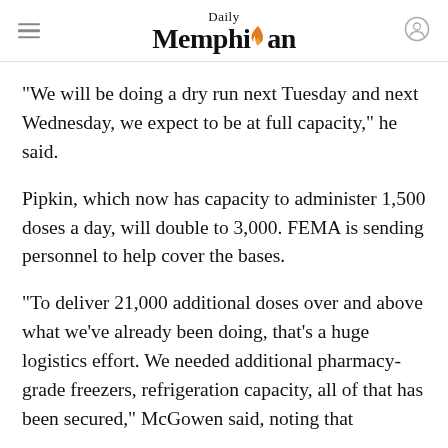Daily Memphian
“We will be doing a dry run next Tuesday and next Wednesday, we expect to be at full capacity,” he said.
Pipkin, which now has capacity to administer 1,500 doses a day, will double to 3,000. FEMA is sending personnel to help cover the bases.
“To deliver 21,000 additional doses over and above what we’ve already been doing, that’s a huge logistics effort. We needed additional pharmacy-grade freezers, refrigeration capacity, all of that has been secured,” McGowen said, noting that